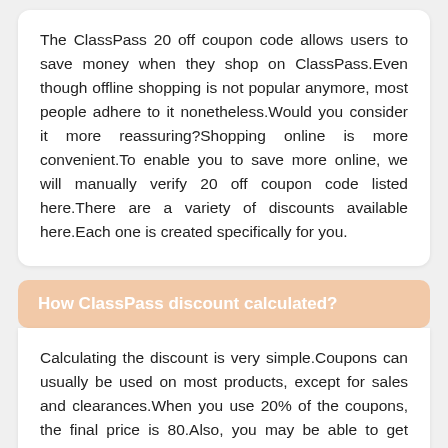The ClassPass 20 off coupon code allows users to save money when they shop on ClassPass.Even though offline shopping is not popular anymore, most people adhere to it nonetheless.Would you consider it more reassuring?Shopping online is more convenient.To enable you to save more online, we will manually verify 20 off coupon code listed here.There are a variety of discounts available here.Each one is created specifically for you.
How ClassPass discount calculated?
Calculating the discount is very simple.Coupons can usually be used on most products, except for sales and clearances.When you use 20% of the coupons, the final price is 80.Also, you may be able to get discounts on products by using coupons. For example, a 20% discount on $100 item plus a